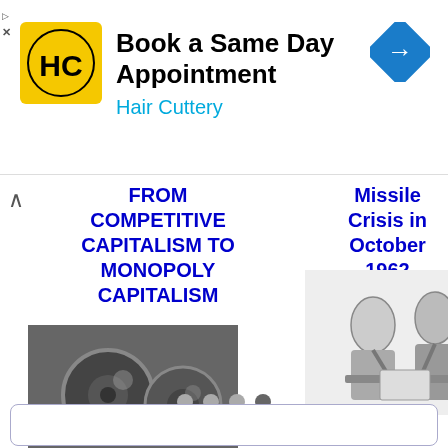[Figure (screenshot): Hair Cuttery advertisement banner with logo, text 'Book a Same Day Appointment', 'Hair Cuttery', and a navigation arrow icon]
FROM COMPETITIVE CAPITALISM TO MONOPOLY CAPITALISM
[Figure (illustration): Black and white illustration of two men sitting across a table, examining documents]
[Figure (illustration): Black and white photograph of industrial gears]
Missile Crisis in October 1962
CAPITALISM
[Figure (illustration): Vintage illustration of a steam train on railway tracks with trees in background]